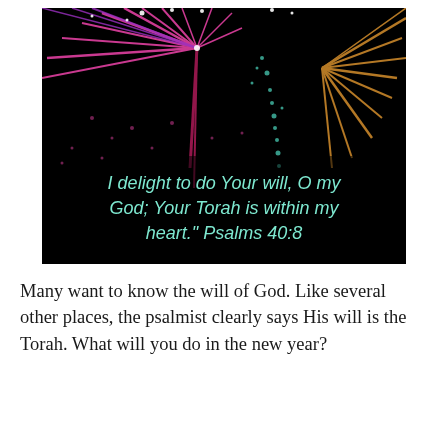[Figure (photo): Colorful fireworks on a black background — pink/purple burst on left, gold/teal burst on right — with a scripture quote overlaid at the bottom in teal text: 'I delight to do Your will, O my God; Your Torah is within my heart."    Psalms 40:8']
Many want to know the will of God.  Like several other places, the psalmist clearly says His will is the Torah.  What will you do in the new year?